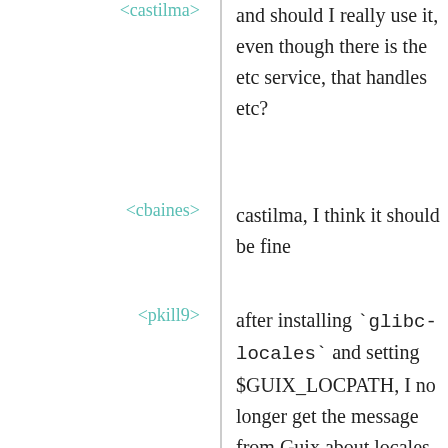<castilma>
and should I really use it, even though there is the etc service, that handles etc?
<cbaines>
castilma, I think it should be fine
<pkill9>
after installing `glibc-locales` and setting $GUIX_LOCPATH, I no longer get the message from Guix about locales, but I still get this error: `substitute: guile: warning: failed to install locale`